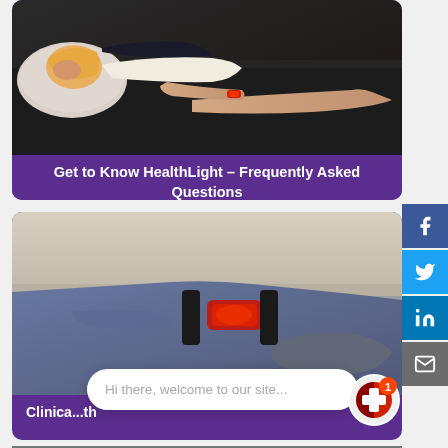[Figure (photo): Woman lying on dark sofa/couch with pillow, wearing white top and dark shorts, appearing to rest or be in pain]
Get to Know HealthLight – Frequently Asked Questions
[Figure (photo): Close-up of a person's legs/feet wearing grey pants, with red light therapy device visible, sitting on a beige couch]
Clinica... th
Hi there, welcome to our site...